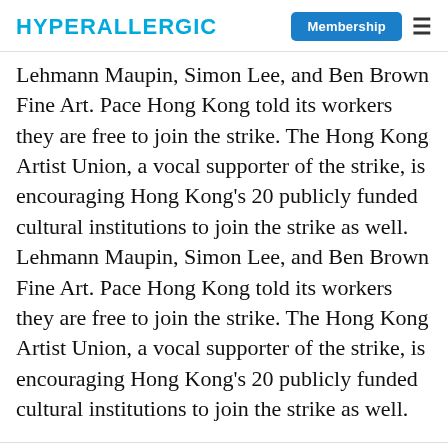HYPERALLERGIC | Membership
Lehmann Maupin, Simon Lee, and Ben Brown Fine Art. Pace Hong Kong told its workers they are free to join the strike. The Hong Kong Artist Union, a vocal supporter of the strike, is encouraging Hong Kong's 20 publicly funded cultural institutions to join the strike as well.
Related
Shirley Tse's Ecology of the Everyday
July 27, 2022
Hong Kong Cultural Workers Say New Legislation Will Eliminate Creative Freedom
May 28, 2020